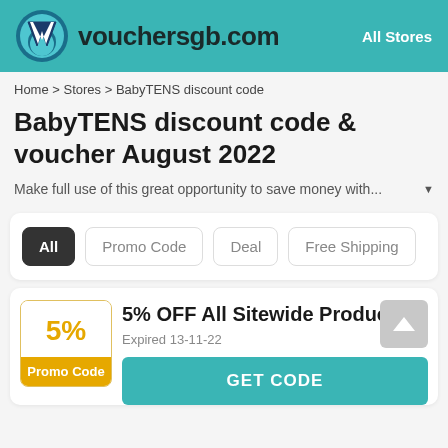[Figure (logo): vouchersgb.com logo with teal V icon and site name, All Stores link on right]
Home > Stores > BabyTENS discount code
BabyTENS discount code & voucher August 2022
Make full use of this great opportunity to save money with...
All | Promo Code | Deal | Free Shipping
5% OFF All Sitewide Products
Expired 13-11-22
GET CODE